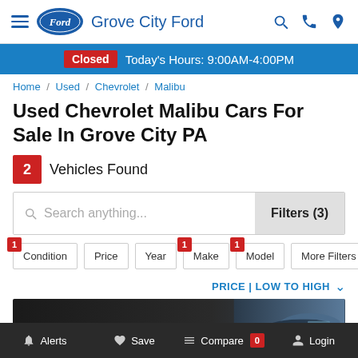Grove City Ford
Closed  Today's Hours: 9:00AM-4:00PM
Home / Used / Chevrolet / Malibu
Used Chevrolet Malibu Cars For Sale In Grove City PA
2 Vehicles Found
Search anything...
Filters (3)
Condition | Price | Year | Make | Model | More Filters
PRICE | LOW TO HIGH
GoShopAuto
Alerts  Save  Compare 0  Login